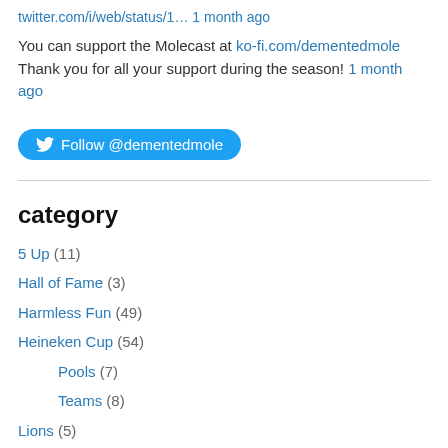twitter.com/i/web/status/1… 1 month ago
You can support the Molecast at ko-fi.com/dementedmole Thank you for all your support during the season! 1 month ago
Follow @dementedmole
category
5 Up (11)
Hall of Fame (3)
Harmless Fun (49)
Heineken Cup (54)
Pools (7)
Teams (8)
Lions (5)
Mole's World Cup Diary (16)
News (38)
Opinion (134)
Gossip From The Mart (9)